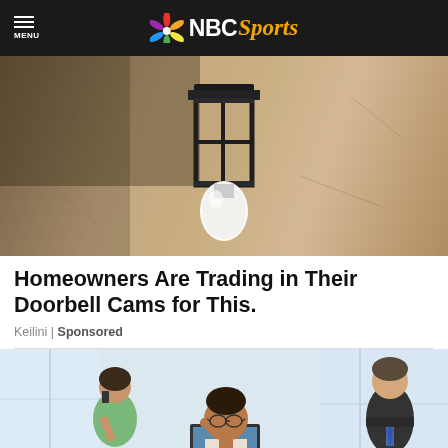NBC Sports
[Figure (photo): Close-up photo of a black metal outdoor wall lantern light fixture mounted on a textured stucco wall, with a bright white LED bulb visible at the bottom]
Homeowners Are Trading in Their Doorbell Cams for This.
Keilini | Sponsored
[Figure (photo): Office scene with multiple people working, a man with glasses in the foreground working at a laptop, a woman in green on the left talking on the phone, and a person in business attire in the background]